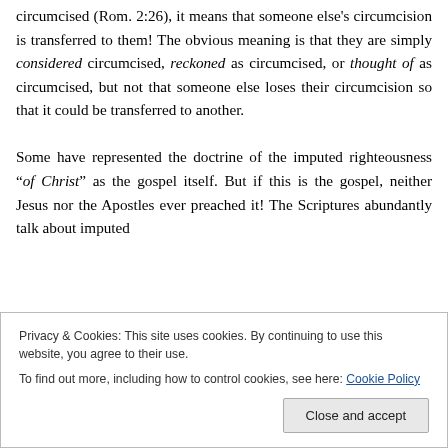circumcised (Rom. 2:26), it means that someone else's circumcision is transferred to them! The obvious meaning is that they are simply considered circumcised, reckoned as circumcised, or thought of as circumcised, but not that someone else loses their circumcision so that it could be transferred to another.

Some have represented the doctrine of the imputed righteousness “of Christ” as the gospel itself. But if this is the gospel, neither Jesus nor the Apostles ever preached it! The Scriptures abundantly talk about imputed
Privacy & Cookies: This site uses cookies. By continuing to use this website, you agree to their use.
To find out more, including how to control cookies, see here: Cookie Policy